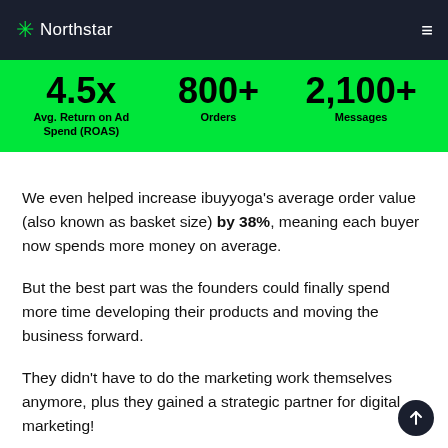Northstar
[Figure (infographic): Green banner with three key statistics: 4.5x Avg. Return on Ad Spend (ROAS), 800+ Orders, 2,100+ Messages]
We even helped increase ibuyyoga's average order value (also known as basket size) by 38%, meaning each buyer now spends more money on average.
But the best part was the founders could finally spend more time developing their products and moving the business forward.
They didn't have to do the marketing work themselves anymore, plus they gained a strategic partner for digital marketing!